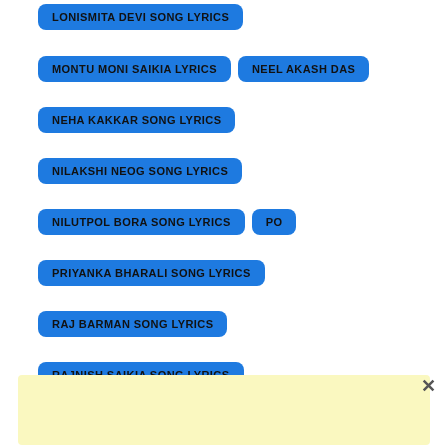LONISMITA DEVI SONG LYRICS
MONTU MONI SAIKIA LYRICS
NEEL AKASH DAS
NEHA KAKKAR SONG LYRICS
NILAKSHI NEOG SONG LYRICS
NILUTPOL BORA SONG LYRICS
PO
PRIYANKA BHARALI SONG LYRICS
RAJ BARMAN SONG LYRICS
RAJNISH SAIKIA SONG LYRICS
RAKESH REEYAN SONG LYRICS
SACHET TANDON SONG LYRICS
SANNIDHYA BHUYAN SONG LYRICS
[Figure (other): Yellow advertisement banner placeholder]